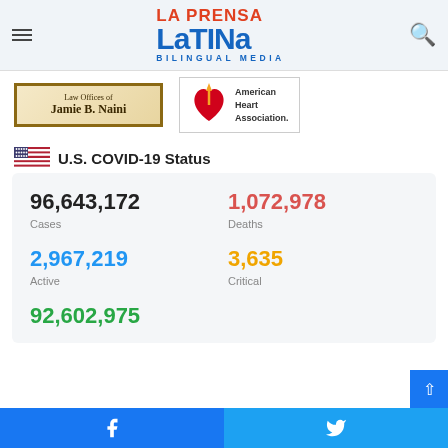[Figure (logo): La Prensa Latina Bilingual Media logo — red LA PRENSA text, blue LATINA large text, blue BILINGUAL MEDIA small caps text]
[Figure (logo): Law Offices of Jamie B. Naini advertisement with decorative border]
[Figure (logo): American Heart Association logo with torch-heart icon and text]
U.S. COVID-19 Status
| Metric | Value |
| --- | --- |
| Cases | 96,643,172 |
| Deaths | 1,072,978 |
| Active | 2,967,219 |
| Critical | 3,635 |
| Recovered | 92,602,975 |